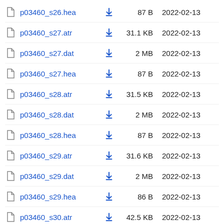p03460_s26.hea  87 B  2022-02-13
p03460_s27.atr  31.1 KB  2022-02-13
p03460_s27.dat  2 MB  2022-02-13
p03460_s27.hea  87 B  2022-02-13
p03460_s28.atr  31.5 KB  2022-02-13
p03460_s28.dat  2 MB  2022-02-13
p03460_s28.hea  87 B  2022-02-13
p03460_s29.atr  31.6 KB  2022-02-13
p03460_s29.dat  2 MB  2022-02-13
p03460_s29.hea  86 B  2022-02-13
p03460_s30.atr  42.5 KB  2022-02-13
p03460_s30.dat  2 MB  2022-02-13
p03460_s30.hea  87 B  2022-02-13
p03460_s31.atr  37.5 KB  2022-02-13